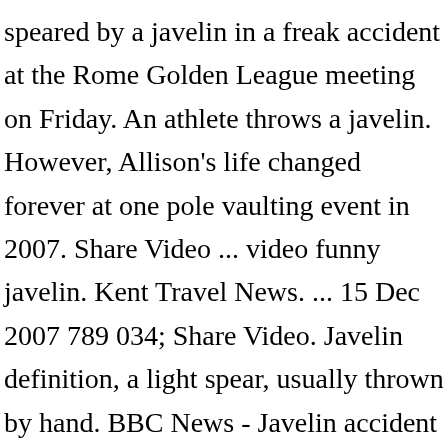speared by a javelin in a freak accident at the Rome Golden League meeting on Friday. An athlete throws a javelin. However, Allison's life changed forever at one pole vaulting event in 2007. Share Video ... video funny javelin. Kent Travel News. ... 15 Dec 2007 789 034; Share Video. Javelin definition, a light spear, usually thrown by hand. BBC News - Javelin accident kills German athletics official. At high angles of attack the elevators were masked from the airflow by the wings and became ineffective, from which point